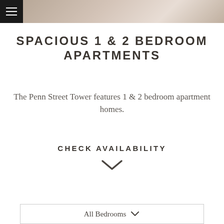[Figure (photo): Header photo strip showing apartment interior, with black hamburger menu button on top-left]
SPACIOUS 1 & 2 BEDROOM APARTMENTS
The Penn Street Tower features 1 & 2 bedroom apartment homes.
CHECK AVAILABILITY
All Bedrooms (dropdown)